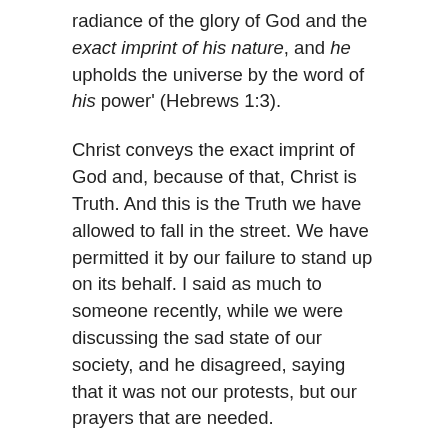radiance of the glory of God and the exact imprint of his nature, and he upholds the universe by the word of his power' (Hebrews 1:3).
Christ conveys the exact imprint of God and, because of that, Christ is Truth. And this is the Truth we have allowed to fall in the street. We have permitted it by our failure to stand up on its behalf. I said as much to someone recently, while we were discussing the sad state of our society, and he disagreed, saying that it was not our protests, but our prayers that are needed.
Well, I don't see the two as mutually exclusive. Prayer and action are frequently different sides of the same coin: not alternative, but complementary to one another. It is we who have failed the Truth and if we go on our knees in contrition before God, ought we not to